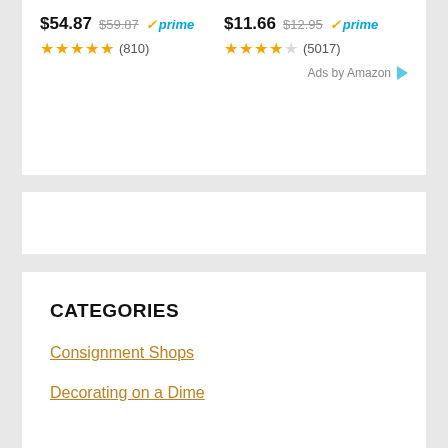$54.87  $59.87  ✓prime  (810)   $11.66  $12.95  ✓prime  (5017)
Ads by Amazon
CATEGORIES
Consignment Shops
Decorating on a Dime